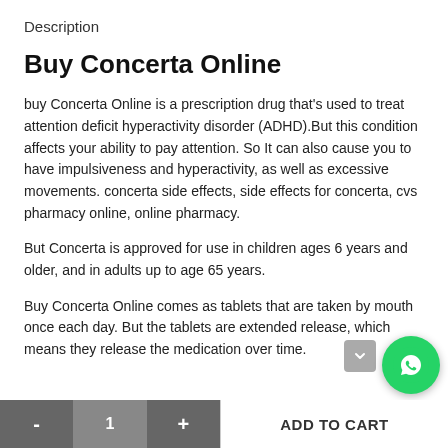Description
Buy Concerta Online
buy Concerta Online is a prescription drug that's used to treat attention deficit hyperactivity disorder (ADHD).But this condition affects your ability to pay attention. So It can also cause you to have impulsiveness and hyperactivity, as well as excessive movements. concerta side effects, side effects for concerta, cvs pharmacy online, online pharmacy.
But Concerta is approved for use in children ages 6 years and older, and in adults up to age 65 years.
Buy Concerta Online comes as tablets that are taken by mouth once each day. But the tablets are extended release, which means they release the medication over time.
- 1 + ADD TO CART